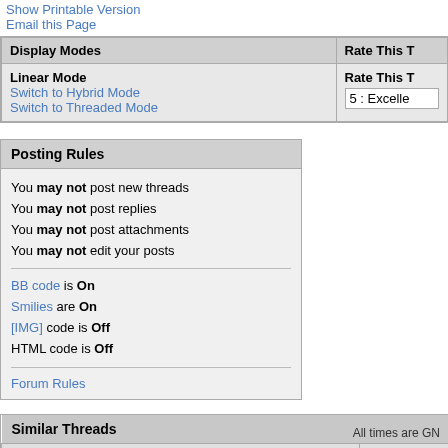Show Printable Version
Email this Page
| Display Modes | Rate This T |
| --- | --- |
| Linear Mode
Switch to Hybrid Mode
Switch to Threaded Mode | Rate This T
5 : Excelle |
Posting Rules
You may not post new threads
You may not post replies
You may not post attachments
You may not edit your posts
BB code is On
Smilies are On
[IMG] code is Off
HTML code is Off
Forum Rules
| Thread | Thr |
| --- | --- |
| GuildFTPd command set (import) | Jesper |
All times are GN